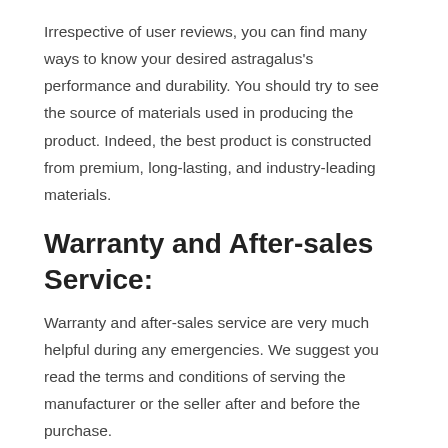Irrespective of user reviews, you can find many ways to know your desired astragalus's performance and durability. You should try to see the source of materials used in producing the product. Indeed, the best product is constructed from premium, long-lasting, and industry-leading materials.
Warranty and After-sales Service:
Warranty and after-sales service are very much helpful during any emergencies. We suggest you read the terms and conditions of serving the manufacturer or the seller after and before the purchase.
It is not easy to say your product will last forever. So, inquire if the manufacturer is allowing any warranty or after-sale services upon the purchase. Some products may require repairing services which the manufacturer may allow sometimes. In this case, you may check the user reviews about the manufacturer's after-sales